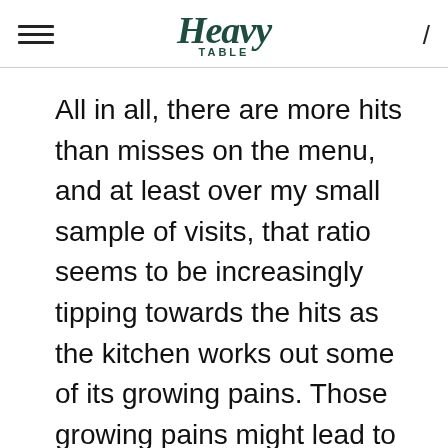Heavy Table
All in all, there are more hits than misses on the menu, and at least over my small sample of visits, that ratio seems to be increasingly tipping towards the hits as the kitchen works out some of its growing pains. Those growing pains might lead to some inconsistency in service, but if you get unlucky and have anything less than a great experience, just go back and try